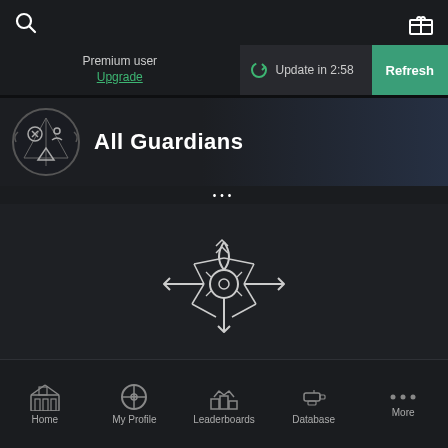[Figure (screenshot): Mobile app top bar with search icon on left and gift icon on right]
Premium user
Upgrade
Update in 2:58
Refresh
All Guardians
...
[Figure (illustration): Destiny-style crossbow / auto rifle icon outline in white on dark background]
Home  My Profile  Leaderboards  Database  More